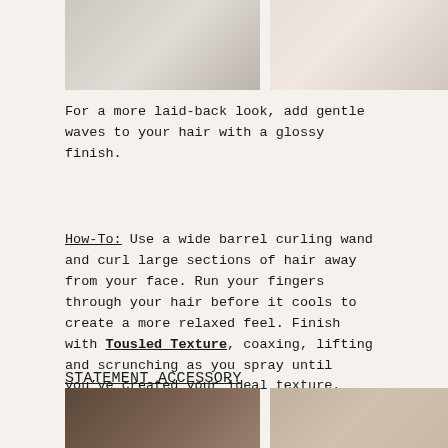[Figure (photo): Two cropped photos at top: left shows hair/beauty product, right shows person with decorative hair accessory]
For a more laid-back look, add gentle waves to your hair with a glossy finish.
How-To: Use a wide barrel curling wand and curl large sections of hair away from your face. Run your fingers through your hair before it cools to create a more relaxed feel. Finish with Tousled Texture, coaxing, lifting and scrunching as you spray until you’ve created your ideal texture.
STATEMENT ACCESSORY
[Figure (photo): Two cropped photos at bottom: left shows dark accessory, right shows person with accessory]